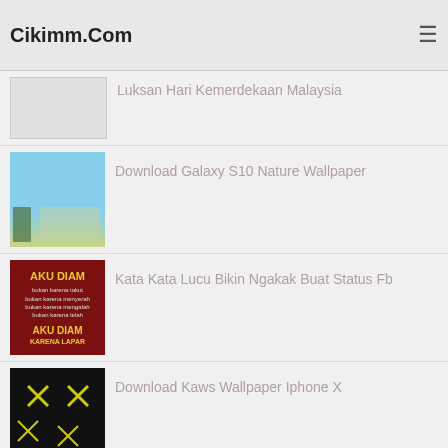Cikimm.Com
Luksan Hari Kemerdekaan Malaysia
Download Galaxy S10 Nature Wallpaper
Kata Kata Lucu Bikin Ngakak Buat Status Fb
Download Kaws Wallpaper Iphone X
RANDOM POSTS
49 Gambar Kartun Pohon Bunga Gratis
99 Background Kimia Animasi Pilihan